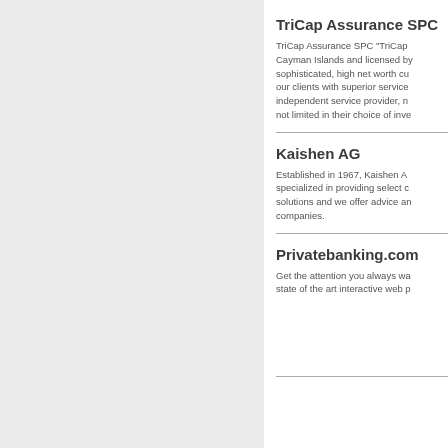TriCap Assurance SPC
TriCap Assurance SPC “TriCap” is incorporated in the Cayman Islands and licensed by… sophisticated, high net worth cu… our clients with superior service… independent service provider, n… not limited in their choice of inve…
Kaishen AG
Established in 1967, Kaishen A… specialized in providing select c… solutions and we offer advice an… companies.
Privatebanking.com
Get the attention you always wa… state of the art interactive web p…